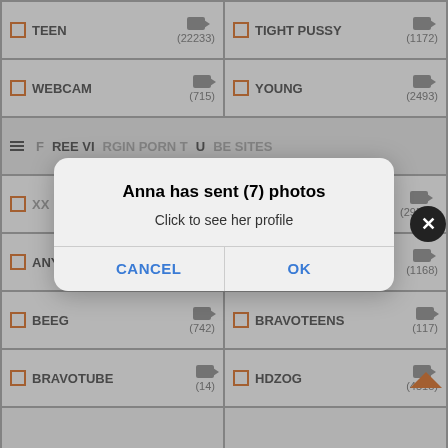[Figure (screenshot): Mobile app screenshot showing a grid list of adult video site categories with checkboxes and video counts, overlaid by a dialog box. Categories visible include TEEN (22233), TIGHT PUSSY (1172), WEBCAM (715), YOUNG (2493), FREE VIRGIN PORN TUBE SITES section header, XXX TEEN VIDEOS, VINTAGE XX VIDEOS (29535), ANYPORN (452), ANYSEX (1168), BEEG (742), BRAVOTEENS (117), BRAVOTUBE (14), HDZOG (4518). A modal dialog reads 'Anna has sent (7) photos' / 'Click to see her profile' with CANCEL and OK buttons. A close X button is visible top right of modal area.]